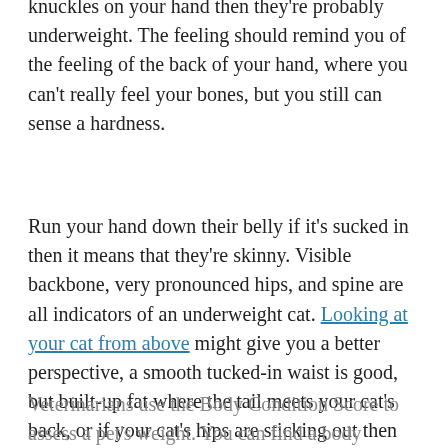knuckles on your hand then they're probably underweight. The feeling should remind you of the feeling of the back of your hand, where you can't really feel your bones, but you still can sense a hardness.
Run your hand down their belly if it's sucked in then it means that they're skinny. Visible backbone, very pronounced hips, and spine are all indicators of an underweight cat. Looking at your cat from above might give you a better perspective, a smooth tucked-in waist is good, but built-up fat where the tail meets your cat's back, or if your cat's hips are sticking out then that's a sign of an over or underweight fluffball.
Veterinarians use the Body Condition Score to assess a pet's weight. You can find a body condition score chart